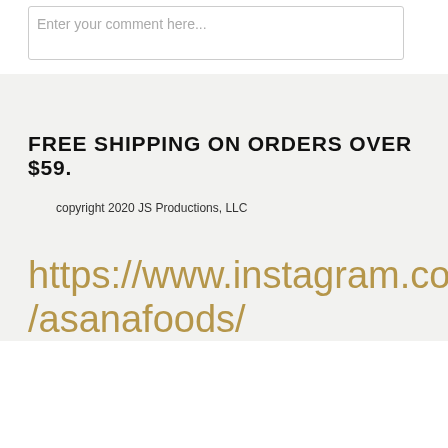Enter your comment here...
FREE SHIPPING ON ORDERS OVER $59.
copyright 2020 JS Productions, LLC
https://www.instagram.com/asanafoods/